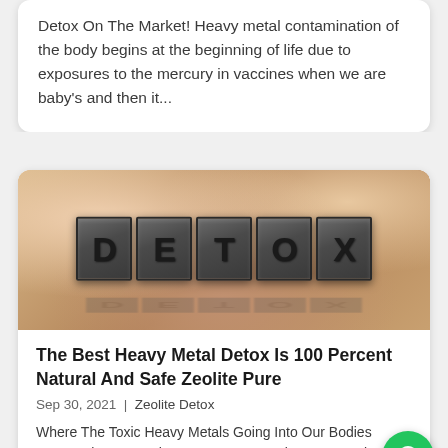Detox On The Market! Heavy metal contamination of the body begins at the beginning of life due to exposures to the mercury in vaccines when we are baby's and then it...
[Figure (photo): Photo of metal letterpress blocks spelling out DETOX on a warm beige/tan background, with a subtle reflection below the blocks.]
The Best Heavy Metal Detox Is 100 Percent Natural And Safe Zeolite Pure
Sep 30, 2021 | Zeolite Detox
Where The Toxic Heavy Metals Going Into Our Bodies Are Coming From The Best Heavy Metal Detox---Toxic heavy metals are poisoning our environment and our